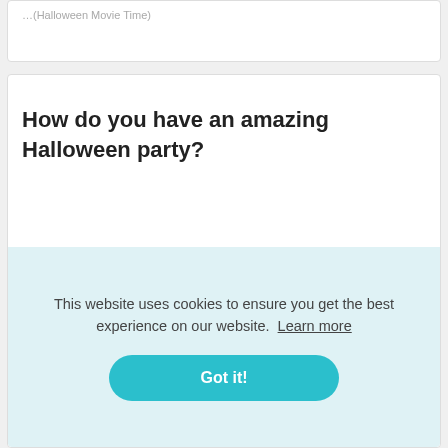…(Halloween Movie Time)
How do you have an amazing Halloween party?
[Figure (other): Twitter and Blogger share icon buttons]
7 Ways to Throw an Eerily Great Halloween Party Stock candy bowls in every room strategically. This one's so obvious it almost…
This website uses cookies to ensure you get the best experience on our website. Learn more
Got it!